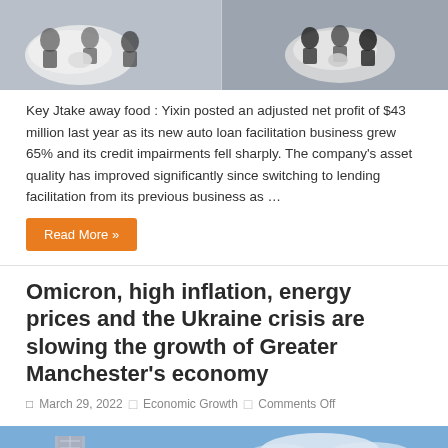[Figure (photo): People sitting in modern white pod chairs in an office or lounge setting, aerial/overhead view, two groups on left and right sides]
Key Jtake away food : Yixin posted an adjusted net profit of $43 million last year as its new auto loan facilitation business grew 65% and its credit impairments fell sharply. The company's asset quality has improved significantly since switching to lending facilitation from its previous business as …
Read More »
Omicron, high inflation, energy prices and the Ukraine crisis are slowing the growth of Greater Manchester's economy
March 29, 2022   Economic Growth   Comments Off
[Figure (photo): Modern architecture building with a curved arch structure against a blue sky with clouds, Manchester city skyline]